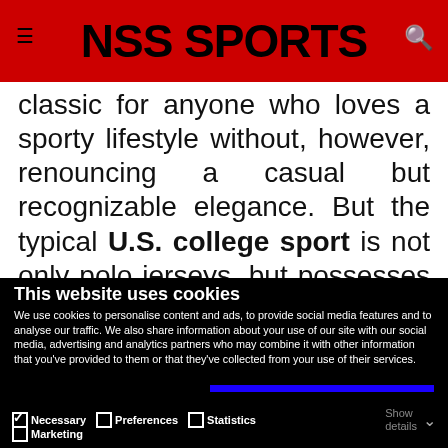NSS SPORTS
classic for anyone who loves a sporty lifestyle without, however, renouncing a casual but recognizable elegance. But the typical U.S. college sport is not only polo jerseys, but possesses a very deep heritage that breathes the
This website uses cookies
We use cookies to personalise content and ads, to provide social media features and to analyse our traffic. We also share information about your use of our site with our social media, advertising and analytics partners who may combine it with other information that you've provided to them or that they've collected from your use of their services.
Allow all cookies
Allow selection
Use necessary cookies only
Necessary  Preferences  Statistics  Marketing  Show details